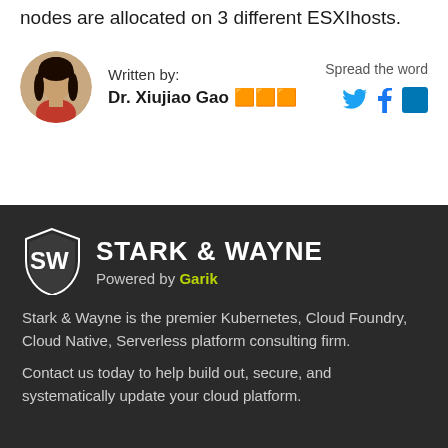nodes are allocated on 3 different ESXIhosts.
[Figure (photo): Circular avatar photo of Dr. Xiujiao Gao]
Written by:
Dr. Xiujiao Gao 🟧🟧🟧
Spread the word
[Figure (logo): Social media icons: Twitter, Facebook, LinkedIn]
[Figure (logo): Stark & Wayne logo with shield icon, Powered by Garik]
Stark & Wayne is the premier Kubernetes, Cloud Foundry, Cloud Native, Serverless platform consulting firm.
Contact us today to help build out, secure, and systematically update your cloud platform.